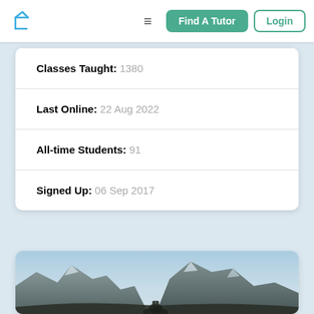Find A Tutor | Login
| Classes Taught: | 1380 |
| Last Online: | 22 Aug 2022 |
| All-time Students: | 91 |
| Signed Up: | 06 Sep 2017 |
[Figure (photo): Mountain landscape photo showing rocky peaks against a blue sky, possibly Yosemite Valley with a bear visible at bottom]